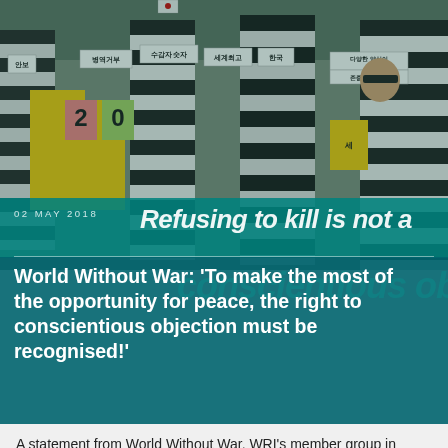[Figure (photo): Protest scene showing people wearing black and white striped prison-like costumes holding signs with Korean text. Some protesters wear yellow vests. Signs include Korean text such as 안보, 병역거부, 수감자숫자, 세계최고, 한국, 다양한양심이존중받는사회. Numbers '2' and '0' visible on pink and green cards.]
02 MAY 2018
Refusing to kill is not a
World Without War: 'To make the most of the opportunity for peace, the right to conscientious objection must be recognised!'
A statement from World Without War, WRI's member group in South Korea, for International Conscientious Objection Day.